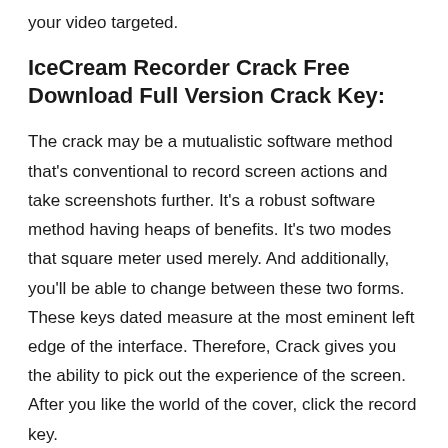your video targeted.
IceCream Recorder Crack Free Download Full Version Crack Key:
The crack may be a mutualistic software method that's conventional to record screen actions and take screenshots further. It's a robust software method having heaps of benefits. It's two modes that square meter used merely. And additionally, you'll be able to change between these two forms. These keys dated measure at the most eminent left edge of the interface. Therefore, Crack gives you the ability to pick out the experience of the screen. After you like the world of the cover, click the record key.